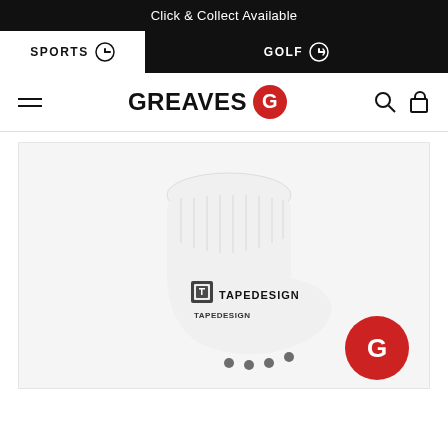Click & Collect Available
SPORTS | GOLF
[Figure (logo): Greaves Sports logo with red G icon]
[Figure (photo): White TapeDesign sports grip sock with black logo and grip dots on sole, photographed on light background with Greaves red G logo button in bottom right corner]